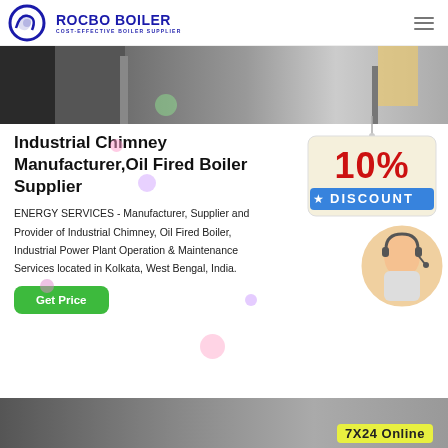[Figure (logo): Rocbo Boiler logo with circular blue icon and text 'ROCBO BOILER - COST-EFFECTIVE BOILER SUPPLIER']
[Figure (photo): Industrial boiler/chimney equipment in a factory setting]
Industrial Chimney Manufacturer,Oil Fired Boiler Supplier
ENERGY SERVICES - Manufacturer, Supplier and Provider of Industrial Chimney, Oil Fired Boiler, Industrial Power Plant Operation & Maintenance Services located in Kolkata, West Bengal, India.
[Figure (infographic): 10% Discount promotional sign with customer service agent]
[Figure (photo): Bottom strip showing boiler equipment with '7X24 Online' label]